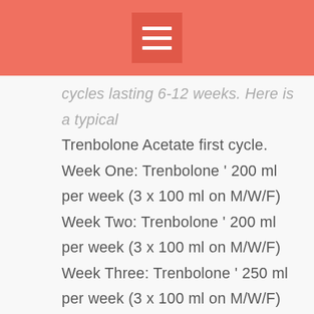☰
cycles lasting 6-12 weeks. Here is a typical Trenbolone Acetate first cycle. Week One: Trenbolone ' 200 ml per week (3 x 100 ml on M/W/F) Week Two: Trenbolone ' 200 ml per week (3 x 100 ml on M/W/F) Week Three: Trenbolone ' 250 ml per week (3 x 100 ml on M/W/F) Week Four: Trenbolone ' 250 ml per week (3 x 100 ml on M/W/F) Week Five: Trenbolone ' 300 ml per week (3 x 100 ml on M/W/F) Week Six: Trenbolone ' 300 ml per week (3 x 100 ml on M/W/F) 2. Like trenbolone, Winstrol also has diuretic effects ' causing you to lose water weight and 'dry' you out. This is perfect for those trying to get